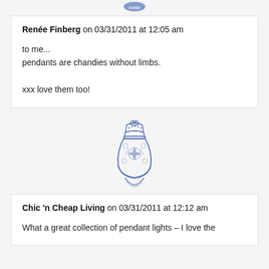[Figure (illustration): Small blue decorative icon at top of page (partially visible)]
Renée Finberg on 03/31/2011 at 12:05 am
to me...
pendants are chandies without limbs.

xxx love them too!
[Figure (illustration): Blue and white decorative ginger jar / vase illustration]
Chic 'n Cheap Living on 03/31/2011 at 12:12 am
What a great collection of pendant lights – I love the